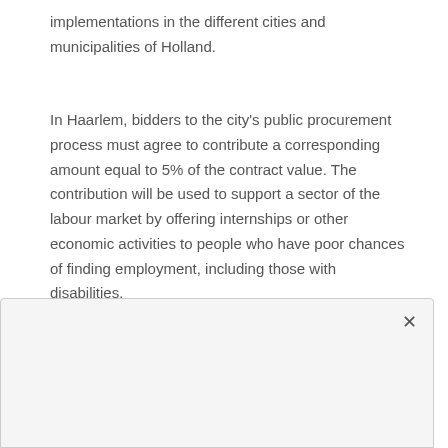implementations in the different cities and municipalities of Holland.
In Haarlem, bidders to the city's public procurement process must agree to contribute a corresponding amount equal to 5% of the contract value. The contribution will be used to support a sector of the labour market by offering internships or other economic activities to people who have poor chances of finding employment, including those with disabilities.
To cite an example, an out-of-school youth looking to get hired as a loodgieter Haarlem apprentice has lower